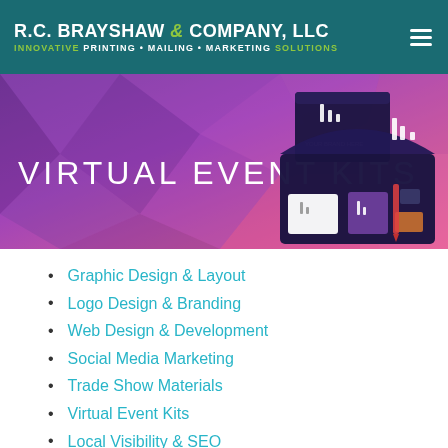R.C. BRAYSHAW & COMPANY, LLC — INNOVATIVE PRINTING • MAILING • MARKETING SOLUTIONS
[Figure (photo): Banner image showing 'VIRTUAL EVENT KITS' text on a purple/pink gradient background with branded gift boxes containing merchandise on the right side.]
Graphic Design & Layout
Logo Design & Branding
Web Design & Development
Social Media Marketing
Trade Show Materials
Virtual Event Kits
Local Visibility & SEO
Digital Advertising